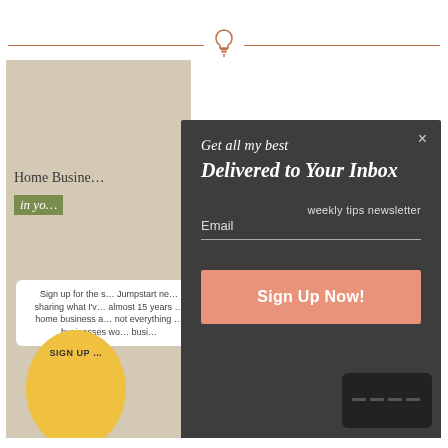[Figure (screenshot): A screenshot of a home business newsletter signup page partially obscured by a dark modal popup. The modal reads 'Get all my best / Delivered to Your Inbox / weekly tips newsletter / Email / Sign Up Now!'. The background shows a beige page with 'Home Business' heading, a green italic subtitle, a white card with signup text, a yellow circle with 'SIGN UP', and a dark device at the bottom right.]